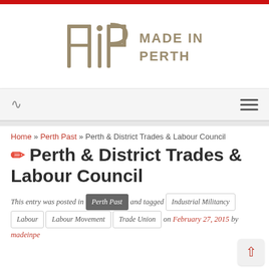[Figure (logo): Made in Perth logo — stylized monogram MiP in olive/tan color with text 'MADE IN PERTH' to the right]
Navigation bar with RSS icon and hamburger menu
Home » Perth Past » Perth & District Trades & Labour Council
✏ Perth & District Trades & Labour Council
This entry was posted in Perth Past and tagged Industrial Militancy Labour Labour Movement Trade Union on February 27, 2015 by madeinpe